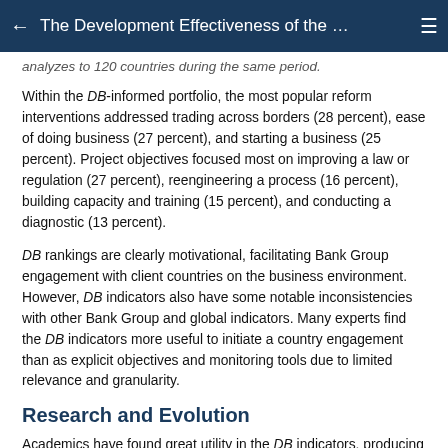The Development Effectiveness of the …
analyzes to 120 countries during the same period.
Within the DB-informed portfolio, the most popular reform interventions addressed trading across borders (28 percent), ease of doing business (27 percent), and starting a business (25 percent). Project objectives focused most on improving a law or regulation (27 percent), reengineering a process (16 percent), building capacity and training (15 percent), and conducting a diagnostic (13 percent).
DB rankings are clearly motivational, facilitating Bank Group engagement with client countries on the business environment. However, DB indicators also have some notable inconsistencies with other Bank Group and global indicators. Many experts find the DB indicators more useful to initiate a country engagement than as explicit objectives and monitoring tools due to limited relevance and granularity.
Research and Evolution
Academics have found great utility in the DB indicators, producing thousands of articles examining the reform areas